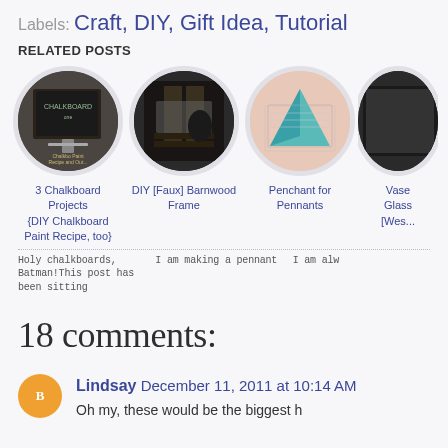Labels: Craft, DIY, Gift Idea, Tutorial
RELATED POSTS
[Figure (other): Four circular thumbnail images of related blog posts: 3 Chalkboard Projects, DIY Faux Barnwood Frame, Penchant for Pennants, and a partially visible fourth post (Vase/Glass/Wes...)]
3 Chalkboard Projects {DIY Chalkboard Paint Recipe, too}
DIY [Faux] Barnwood Frame
Penchant for Pennants
Vase Glass [Wes...
Holy chalkboards, Batman!This post has been sitting   I am making a pennant   I am alw
18 comments:
Lindsay December 11, 2011 at 10:14 AM
Oh my, these would be the biggest h